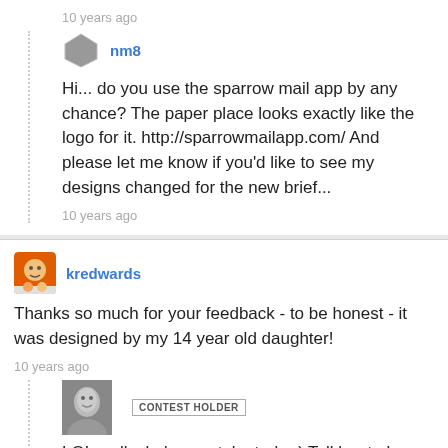10 years ago
nm8
Hi... do you use the sparrow mail app by any chance? The paper place looks exactly like the logo for it. http://sparrowmailapp.com/ And please let me know if you'd like to see my designs changed for the new brief...
10 years ago
kredwards
Thanks so much for your feedback - to be honest - it was designed by my 14 year old daughter!
10 years ago
CONTEST HOLDER
LOL well, she's very talented. :-) Tell her to keep